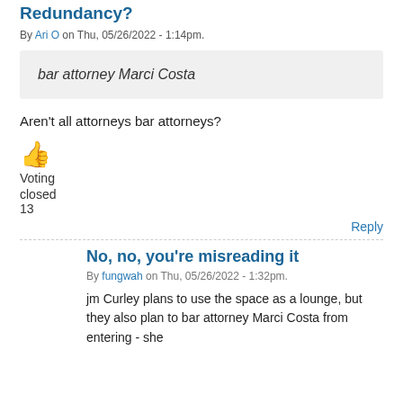Redundancy?
By Ari O on Thu, 05/26/2022 - 1:14pm.
bar attorney Marci Costa
Aren't all attorneys bar attorneys?
👍
Voting
closed
13
Reply
No, no, you're misreading it
By fungwah on Thu, 05/26/2022 - 1:32pm.
jm Curley plans to use the space as a lounge, but they also plan to bar attorney Marci Costa from entering - she